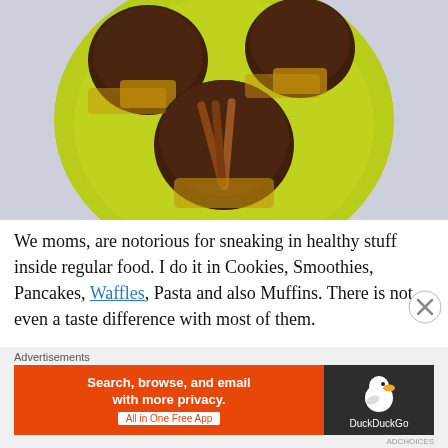[Figure (photo): Chocolate cinnamon muffins with cinnamon sticks on a lime green plate, photographed from above on a light blue-grey background.]
We moms, are notorious for sneaking in healthy stuff inside regular food. I do it in Cookies, Smoothies, Pancakes, Waffles, Pasta and also Muffins. There is not even a taste difference with most of them.
Advertisements
[Figure (other): DuckDuckGo advertisement banner: orange left side reading 'Search, browse, and email with more privacy. All in One Free App', dark right side with DuckDuckGo duck logo and brand name.]